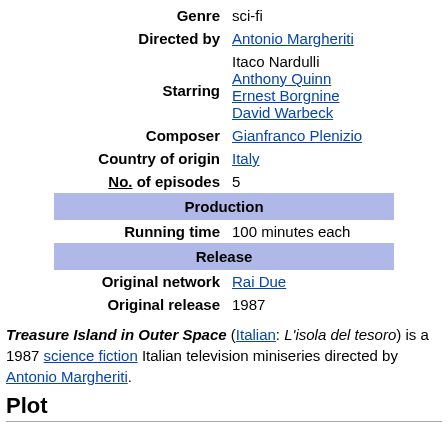| Genre | sci-fi |
| Directed by | Antonio Margheriti |
| Starring | Itaco Nardulli
Anthony Quinn
Ernest Borgnine
David Warbeck |
| Composer | Gianfranco Plenizio |
| Country of origin | Italy |
| No. of episodes | 5 |
| Production |  |
| Running time | 100 minutes each |
| Release |  |
| Original network | Rai Due |
| Original release | 1987 |
Treasure Island in Outer Space (Italian: L'isola del tesoro) is a 1987 science fiction Italian television miniseries directed by Antonio Margheriti.
Plot